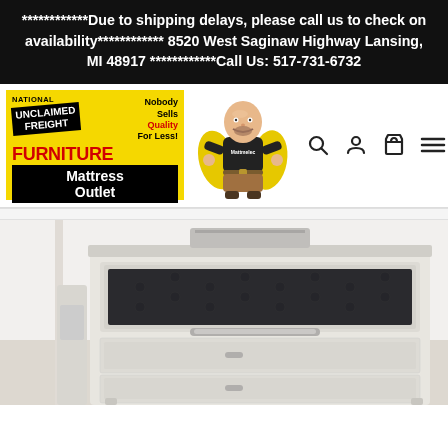************Due to shipping delays, please call us to check on availability************ 8520 West Saginaw Highway Lansing, MI 48917 ************Call Us: 517-731-6732
[Figure (logo): National Unclaimed Freight Furniture Mattress Outlet logo with yellow background, mascot character in superhero cape, and navigation icons (search, account, cart, menu)]
[Figure (photo): Close-up photo of a white/silver bedroom dresser with decorative tufted dark drawer panel and mirrored or metallic hardware]